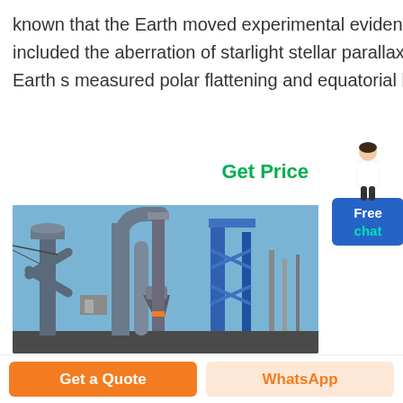known that the Earth moved experimental evidence included the aberration of starlight stellar parallax and the Earth s measured polar flattening and equatorial bulge.
Get Price
[Figure (photo): Industrial machinery/plant with large pipes, cylindrical vessels, and blue metal framework structures against a clear blue sky]
Get a Quote
WhatsApp